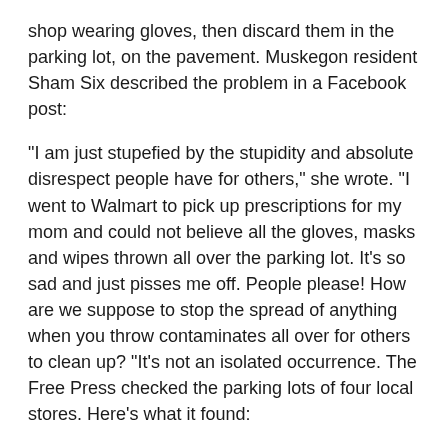shop wearing gloves, then discard them in the parking lot, on the pavement. Muskegon resident Sham Six described the problem in a Facebook post:
“I am just stupefied by the stupidity and absolute disrespect people have for others,” she wrote. “I went to Walmart to pick up prescriptions for my mom and could not believe all the gloves, masks and wipes thrown all over the parking lot. It’s so sad and just pisses me off. People please! How are we suppose to stop the spread of anything when you throw contaminates all over for others to clean up? “It’s not an isolated occurrence. The Free Press checked the parking lots of four local stores. Here’s what it found:
At the Kroger supermarket on Union Lake Road in Commerce Township, 20 protective gloves of various types and colors were found strewn on the parking lot pavement.